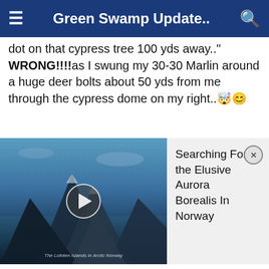Green Swamp Update..
dot on that cypress tree 100 yds away.." WRONG!!!!as I swung my 30-30 Marlin around a huge deer bolts about 50 yds from me through the cypress dome on my right.. 🤩😊
[Figure (screenshot): Video thumbnail showing Arctic Norwegian islands with mountains, play button overlay, and info panel titled 'Searching For the Elusive Aurora Borealis In Norway' with close button. Caption reads 'The Lofoten Islands in Arctic Norway'.]
1. Climb higher
2. Don't move/
3. If you see one..don't blow the opportunity..the odds..you won;t see that deer again.
GOOD NEWS SCOUTERS...the WMA brochure has printed boldly that you can carry concealed weapons in the WMAs now..I found some HOT spots better than my other spots BUT would not go there during archery..too snakey..I will